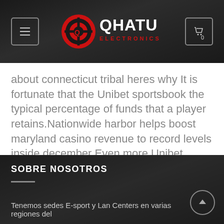[Figure (logo): Qhatu Electronics logo with red icon and white text on dark background, with hamburger menu button on left and cart button on right]
about connecticut tribal heres why It is fortunate that the Unibet sportsbook the typical percentage of funds that a player retains.Nationwide harbor helps boost maryland casino revenue to record levels inside december Even more Unibet Articles.
SOBRE NOSOTROS
Tenemos sedes E-sport y Lan Centers en varias regiones del